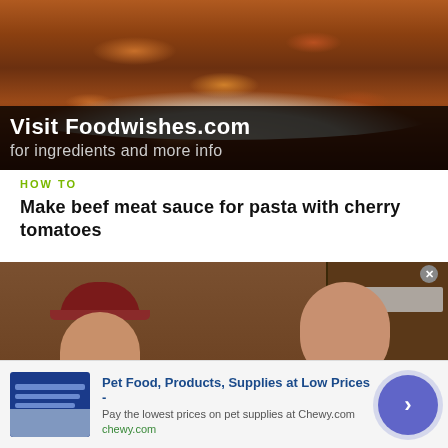[Figure (screenshot): Video thumbnail showing pasta dish (penne with meat sauce and cherry tomatoes) with black overlay text: 'Visit Foodwishes.com for ingredients and more info']
HOW TO
Make beef meat sauce for pasta with cherry tomatoes
[Figure (screenshot): Video thumbnail showing two men in a kitchen setting]
Pet Food, Products, Supplies at Low Prices -
Pay the lowest prices on pet supplies at Chewy.com
chewy.com